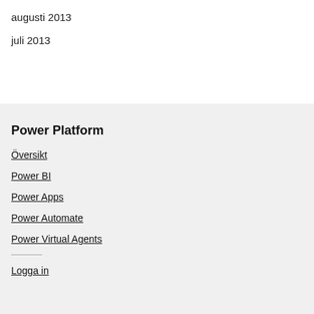augusti 2013
juli 2013
Power Platform
Översikt
Power BI
Power Apps
Power Automate
Power Virtual Agents
Logga in